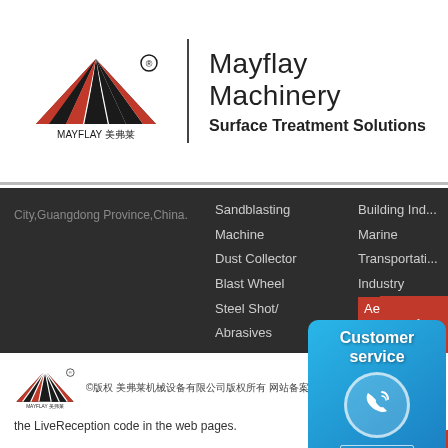[Figure (logo): Mayflay 美弗莱 logo — red and black fan/triangle symbol with registered trademark]
Mayflay Machinery
Surface Treatment Solutions
City,Guangdong Province,China.
Sandblasting Machine
Dust Collector
Blast Wheel
Steel Shot/ Abrasives
Building Ind...
Marine
Transportation Industry
Aerospace I...
[Figure (logo): Mayflay logo small in footer]
©版权 美弗莱机械设备有限公司版权所有 网站备案 粤ICP备12020368号
the LiveReception code in the web pages.